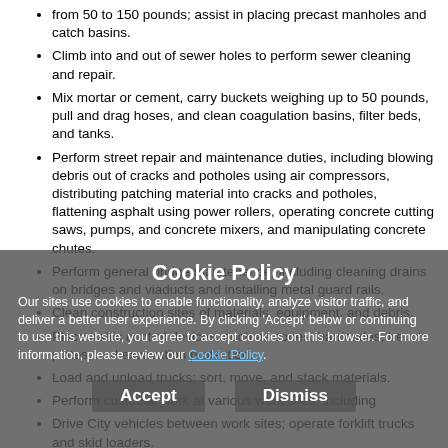from 50 to 150 pounds; assist in placing precast manholes and catch basins.
Climb into and out of sewer holes to perform sewer cleaning and repair.
Mix mortar or cement, carry buckets weighing up to 50 pounds, pull and drag hoses, and clean coagulation basins, filter beds, and tanks.
Perform street repair and maintenance duties, including blowing debris out of cracks and potholes using air compressors, distributing patching material into cracks and potholes, flattening asphalt using power rollers, operating concrete cutting saws, pumps, and concrete mixers, and manipulating concrete chutes.
Perform general bridge maintenance, including cleaning drains on bridges and viaducts and installing metal guard rails.
Clean construction sites of materials, equipment, and debris.
Place traffic control devices, such as cones, barricades, trench plates, and excavation protection.
Load and unload trucks; sort, move, and stack materials.
Perform custodial work at various work sites, including
Drive City vehicles between work sites; operate forklift trucks and skid loaders.
Assist Sanitation workers by collecting solid waste, recyclables, furniture, brush, and appliances and loading them onto a garbage truck; operate the hydraulic controls of the garbage truck.
Perform light maintenance at various work sites such as water